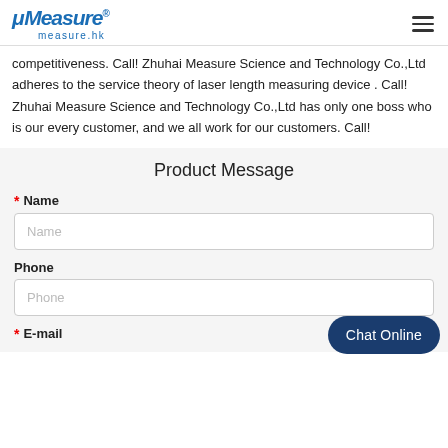μMeasure® measure.hk
competitiveness. Call! Zhuhai Measure Science and Technology Co.,Ltd adheres to the service theory of laser length measuring device . Call! Zhuhai Measure Science and Technology Co.,Ltd has only one boss who is our every customer, and we all work for our customers. Call!
Product Message
Name
Phone
E-mail